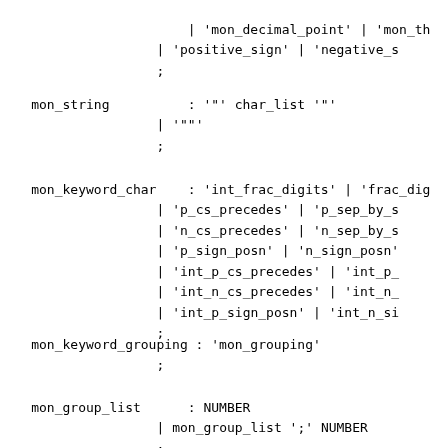| 'mon_decimal_point' | 'mon_th
| 'positive_sign' | 'negative_s
;
mon_string          : '"' char_list '"'
                    | '""'
                    ;
mon_keyword_char    : 'int_frac_digits' | 'frac_dig
                    | 'p_cs_precedes' | 'p_sep_by_s
                    | 'n_cs_precedes' | 'n_sep_by_s
                    | 'p_sign_posn' | 'n_sign_posn'
                    | 'int_p_cs_precedes' | 'int_p_
                    | 'int_n_cs_precedes' | 'int_n_
                    | 'int_p_sign_posn' | 'int_n_si
                    ;
mon_keyword_grouping : 'mon_grouping'
                    ;
mon_group_list      : NUMBER
                    | mon_group_list ';' NUMBER
                    ;